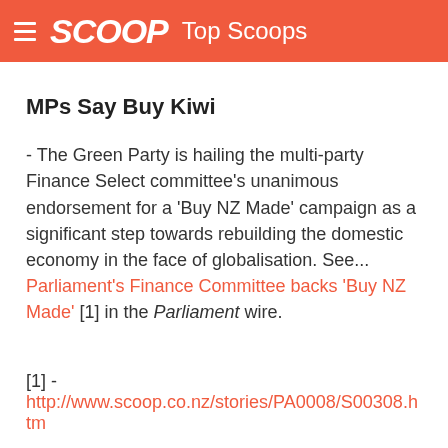SCOOP Top Scoops
MPs Say Buy Kiwi
- The Green Party is hailing the multi-party Finance Select committee's unanimous endorsement for a 'Buy NZ Made' campaign as a significant step towards rebuilding the domestic economy in the face of globalisation. See... Parliament's Finance Committee backs 'Buy NZ Made' [1] in the Parliament wire.
[1] - http://www.scoop.co.nz/stories/PA0008/S00308.htm